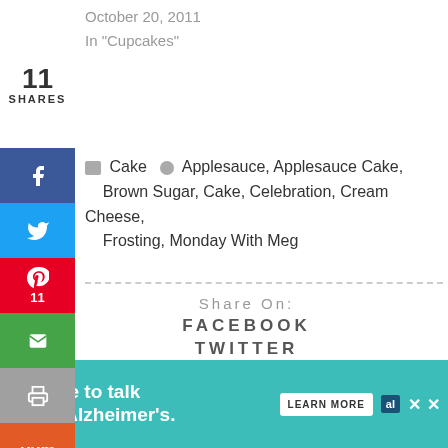October 20, 2011
In "Cupcakes"
11
SHARES
Cake  Applesauce, Applesauce Cake, Brown Sugar, Cake, Celebration, Cream Cheese, Frosting, Monday With Meg
Share On:
FACEBOOK
TWITTER
Save
GOOGLE +
12
Key Lime Cheesecake with Fresh Strawberry Sauce {Crazy Cooking
Homemade Pickles {Claus Copycat}
It's time to talk about Alzheimer's.